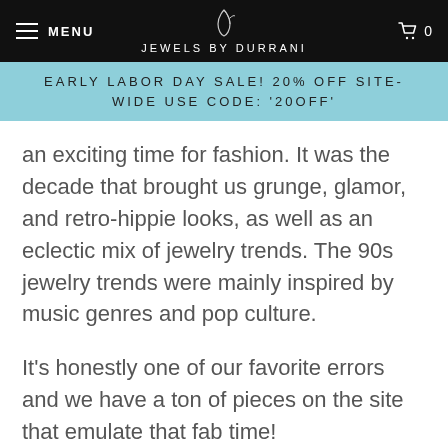MENU  JEWELS BY DURRANI  0
EARLY LABOR DAY SALE! 20% OFF SITE-WIDE USE CODE: '20OFF'
an exciting time for fashion. It was the decade that brought us grunge, glamor, and retro-hippie looks, as well as an eclectic mix of jewelry trends. The 90s jewelry trends were mainly inspired by music genres and pop culture.
It's honestly one of our favorite errors and we have a ton of pieces on the site that emulate that fab time!
Keep reading to pick out your fav 90s